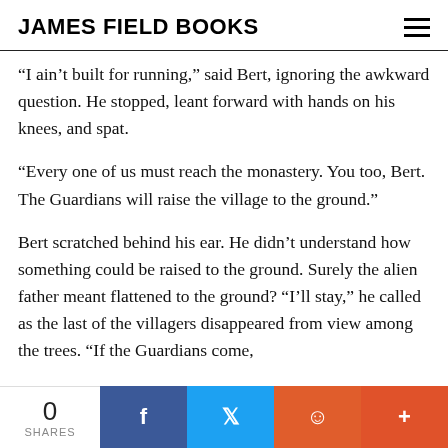JAMES FIELD BOOKS
“I ain’t built for running,” said Bert, ignoring the awkward question. He stopped, leant forward with hands on his knees, and spat.
“Every one of us must reach the monastery. You too, Bert. The Guardians will raise the village to the ground.”
Bert scratched behind his ear. He didn’t understand how something could be raised to the ground. Surely the alien father meant flattened to the ground? “I’ll stay,” he called as the last of the villagers disappeared from view among the trees. “If the Guardians come,
0 SHARES | Share on Facebook | Share on Twitter | Share on Reddit | More